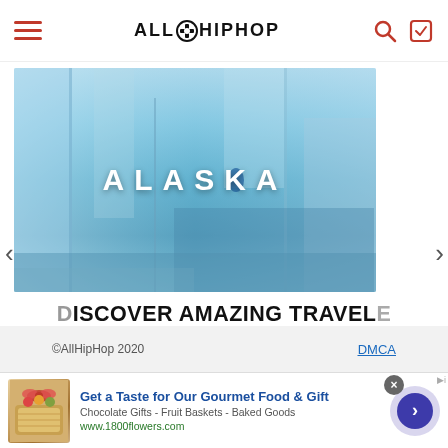AllHipHop
[Figure (photo): Alaska glacier/ice wall travel banner ad for sidestage.com, with text ALASKA overlaid on blue ice imagery]
DISCOVER AMAZING TRAVEL
SIDESTAGE.COM
©AllHipHop 2020    DMCA
[Figure (photo): Bottom advertisement: Get a Taste for Our Gourmet Food & Gift — Chocolate Gifts - Fruit Baskets - Baked Goods — www.1800flowers.com]